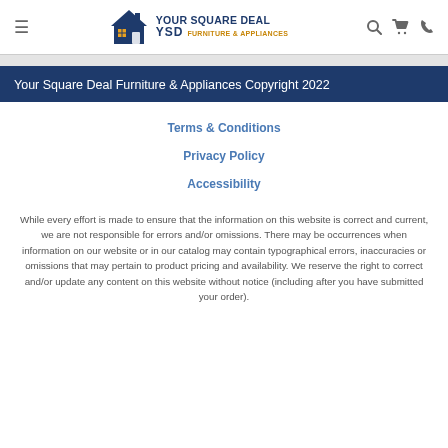Your Square Deal Furniture & Appliances — navigation header with logo, hamburger menu, search, cart, and phone icons
Your Square Deal Furniture & Appliances Copyright 2022
Terms & Conditions
Privacy Policy
Accessibility
While every effort is made to ensure that the information on this website is correct and current, we are not responsible for errors and/or omissions. There may be occurrences when information on our website or in our catalog may contain typographical errors, inaccuracies or omissions that may pertain to product pricing and availability. We reserve the right to correct and/or update any content on this website without notice (including after you have submitted your order).